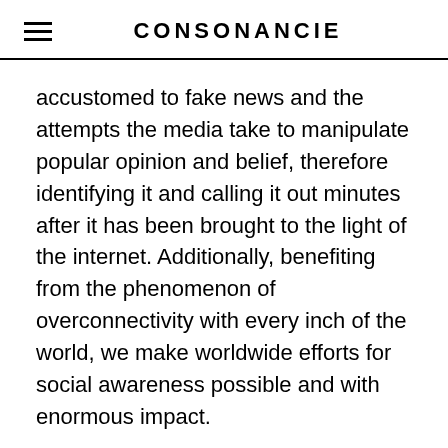CONSONANCIE
accustomed to fake news and the attempts the media take to manipulate popular opinion and belief, therefore identifying it and calling it out minutes after it has been brought to the light of the internet. Additionally, benefiting from the phenomenon of overconnectivity with every inch of the world, we make worldwide efforts for social awareness possible and with enormous impact.
The Black Lives Matter movement began